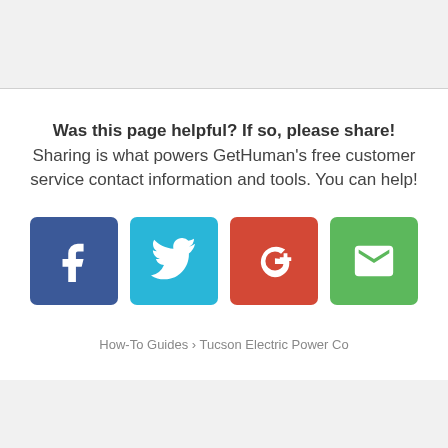Was this page helpful? If so, please share! Sharing is what powers GetHuman's free customer service contact information and tools. You can help!
[Figure (infographic): Four social sharing buttons: Facebook (blue, f icon), Twitter (light blue, bird icon), Google+ (red, G+ icon), Email (green, envelope icon)]
How-To Guides › Tucson Electric Power Co